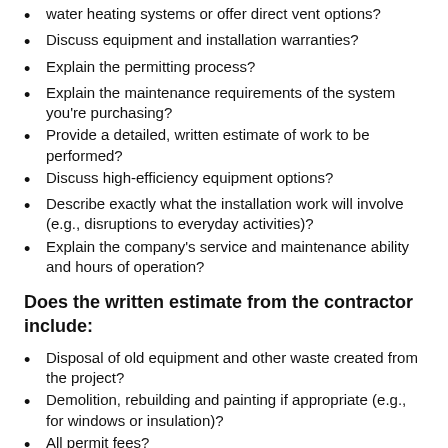water heating systems or offer direct vent options?
Discuss equipment and installation warranties?
Explain the permitting process?
Explain the maintenance requirements of the system you're purchasing?
Provide a detailed, written estimate of work to be performed?
Discuss high-efficiency equipment options?
Describe exactly what the installation work will involve (e.g., disruptions to everyday activities)?
Explain the company's service and maintenance ability and hours of operation?
Does the written estimate from the contractor include:
Disposal of old equipment and other waste created from the project?
Demolition, rebuilding and painting if appropriate (e.g., for windows or insulation)?
All permit fees?
A list of all work to be performed, equipment to be installed and efficiency ratings?
Warranty both for equipment installed and labor?